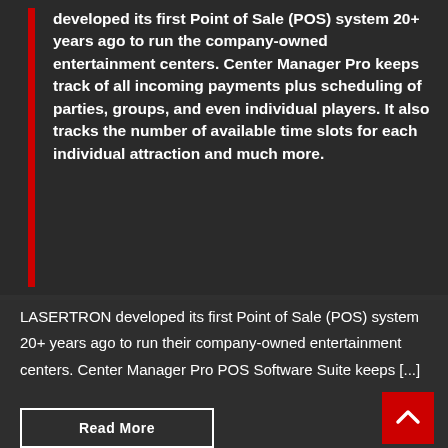developed its first Point of Sale (POS) system 20+ years ago to run the company-owned entertainment centers. Center Manager Pro keeps track of all incoming payments plus scheduling of parties, groups, and even individual players. It also tracks the number of available time slots for each individual attraction and much more.
LASERTRON developed its first Point of Sale (POS) system 20+ years ago to run their company-owned entertainment centers. Center Manager Pro POS Software Suite keeps [...]
Read More